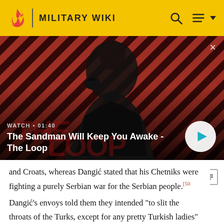MILITARY WIKI
[Figure (screenshot): Video thumbnail showing a dark-cloaked figure with a raven on shoulder against a red and black striped background. Shows 'WATCH • 01:40' label and title 'The Sandman Will Keep You Awake - The Loop' with a play button.]
and Croats, whereas Dangić stated that his Chetniks were fighting a purely Serbian war for the Serbian people.[50] Dangić's envoys told them they intended "to slit the throats of the Turks, except for any pretty Turkish ladies" and "screw down the Croats so hard that they wouldn't [51]